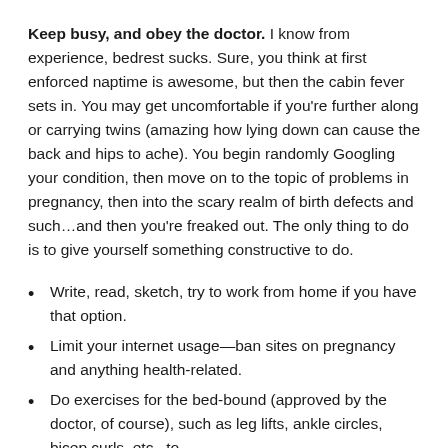Keep busy, and obey the doctor. I know from experience, bedrest sucks. Sure, you think at first enforced naptime is awesome, but then the cabin fever sets in. You may get uncomfortable if you're further along or carrying twins (amazing how lying down can cause the back and hips to ache). You begin randomly Googling your condition, then move on to the topic of problems in pregnancy, then into the scary realm of birth defects and such…and then you're freaked out. The only thing to do is to give yourself something constructive to do.
Write, read, sketch, try to work from home if you have that option.
Limit your internet usage—ban sites on pregnancy and anything health-related.
Do exercises for the bed-bound (approved by the doctor, of course), such as leg lifts, ankle circles, bicep curls, etc., to